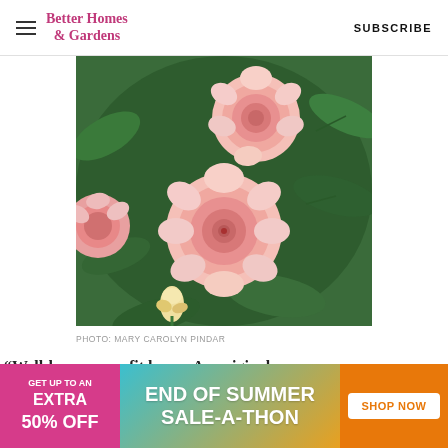Better Homes & Gardens | SUBSCRIBE
[Figure (photo): Close-up photograph of pink garden roses with lush green leaves in the background]
PHOTO: MARY CAROLYN PINDAR
Well-known as a fit home. An original...
[Figure (infographic): Advertisement banner: GET UP TO AN EXTRA 50% OFF | END OF SUMMER SALE-A-THON | SHOP NOW]